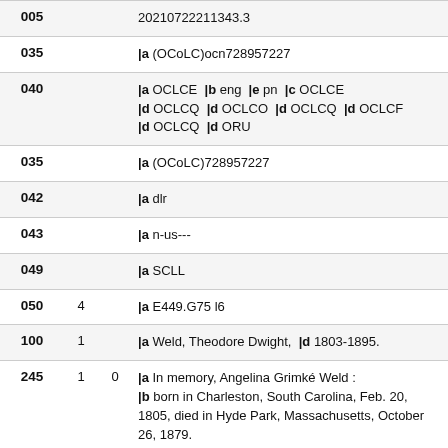| Tag | Ind1 | Ind2/Data |  |
| --- | --- | --- | --- |
| 005 |  |  | 20210722211343.3 |
| 035 |  |  | |a (OCoLC)ocn728957227 |
| 040 |  |  | |a OCLCE  |b eng  |e pn  |c OCLCE |d OCLCQ  |d OCLCO  |d OCLCQ  |d OCLCF |d OCLCQ  |d ORU |
| 035 |  |  | |a (OCoLC)728957227 |
| 042 |  |  | |a dlr |
| 043 |  |  | |a n-us--- |
| 049 |  |  | |a SCLL |
| 050 | 4 |  | |a E449.G75 l6 |
| 100 | 1 |  | |a Weld, Theodore Dwight,  |d 1803-1895. |
| 245 | 1 | 0 | |a In memory, Angelina Grimké Weld : |b born in Charleston, South Carolina, Feb. 20, 1805, died in Hyde Park, Massachusetts, October 26, 1879. |